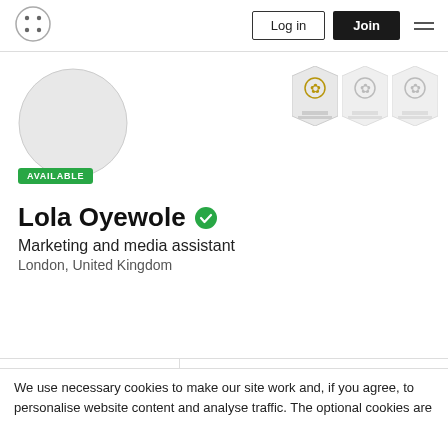[Figure (logo): App/website logo icon with four dots in a circle pattern]
Log in
Join
[Figure (photo): User profile photo placeholder circle, gray]
AVAILABLE
[Figure (illustration): Three badge/medal icons in the top right of the profile area]
Lola Oyewole
Marketing and media assistant
London, United Kingdom
+ Info
15
Connections
We use necessary cookies to make our site work and, if you agree, to personalise website content and analyse traffic. The optional cookies are